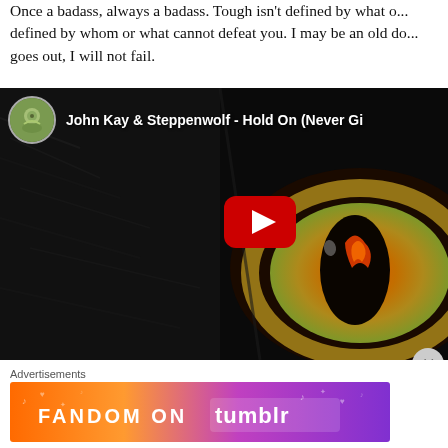Once a badass, always a badass. Tough isn't defined by what o... defined by whom or what cannot defeat you. I may be an old do... goes out, I will not fail.
[Figure (screenshot): YouTube video embed showing 'John Kay & Steppenwolf - Hold On (Never Gi...' with a dark background featuring a close-up of an animal eye with orange/fire iris glow and a red YouTube play button overlay. A circular channel avatar is shown in the top left.]
Advertisements
[Figure (photo): Fandom on Tumblr advertisement banner with gradient background from orange to purple, featuring musical notes, hearts, and other doodle decorations. Text reads 'FANDOM ON tumblr'.]